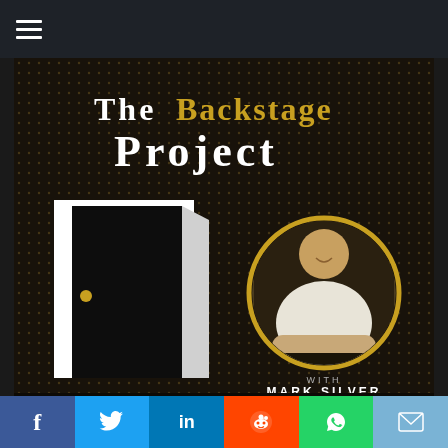[Figure (screenshot): Navigation bar with hamburger menu icon (three horizontal lines) on dark background]
[Figure (illustration): Podcast cover art for 'The Backstage Project with Mark Silver'. Dark dotted background with title text in serif font (THE in white, BACKSTAGE in gold, PROJECT in white). Left side shows a white door with black silhouette door panel and gold doorknob. Right side shows a circular portrait of Mark Silver (a man in a white shirt, smiling, leaning forward) framed by a gold circle. Below reads 'WITH MARK SILVER' in spaced white/grey letters.]
[Figure (screenshot): Social media share bar with icons for Facebook (blue), Twitter (light blue), LinkedIn (dark blue), Reddit (orange-red), WhatsApp (green), Email (light blue)]